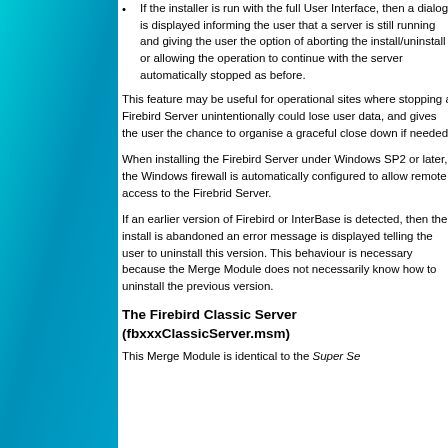If the installer is run with the full User Interface, then a dialog is displayed informing the user that a server is still running and giving the user the option of aborting the install/uninstall or allowing the operation to continue with the server automatically stopped as before.
This feature may be useful for operational sites where stopping a Firebird Server unintentionally could lose user data, and gives the user the chance to organise a graceful close down if needed.
When installing the Firebird Server under Windows SP2 or later, the Windows firewall is automatically configured to allow remote access to the Firebird Server.
If an earlier version of Firebird or InterBase is detected, then the install is abandoned an error message is displayed telling the user to uninstall this version. This behaviour is necessary because the Merge Module does not necessarily know how to uninstall the previous version.
The Firebird Classic Server (fbxxxClassicServer.msm)
This Merge Module is identical to the Super Se...